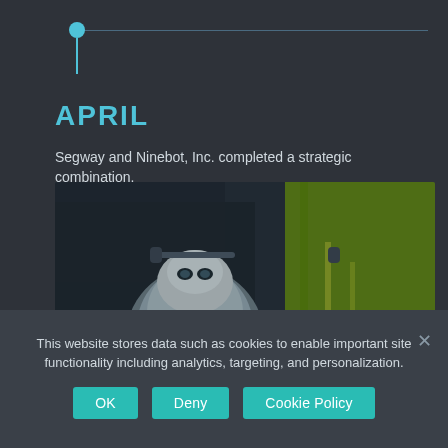[Figure (other): Circular pin/dot on a horizontal timeline line with a vertical stem, in cyan/teal color, on a dark background]
APRIL
Segway and Ninebot, Inc. completed a strategic combination.
[Figure (photo): Photograph of a Segway police robot vehicle with blue lights and 'POLICE' label, next to a person in a hi-vis yellow jacket, outdoor dark setting]
This website stores data such as cookies to enable important site functionality including analytics, targeting, and personalization.
OK  Deny  Cookie Policy